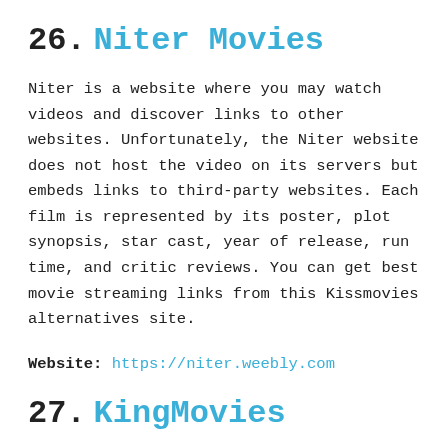26. Niter Movies
Niter is a website where you may watch videos and discover links to other websites. Unfortunately, the Niter website does not host the video on its servers but embeds links to third-party websites. Each film is represented by its poster, plot synopsis, star cast, year of release, run time, and critic reviews. You can get best movie streaming links from this Kissmovies alternatives site.
Website: https://niter.weebly.com
27. KingMovies